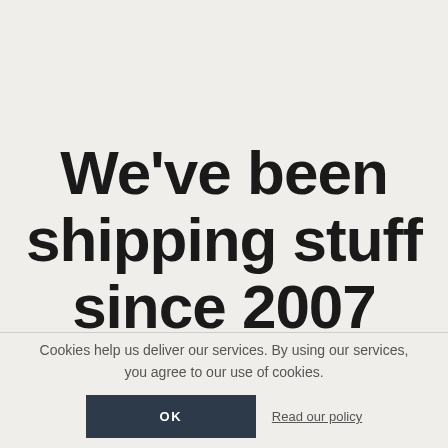We've been shipping stuff since 2007
Cookies help us deliver our services. By using our services, you agree to our use of cookies.
OK
Read our policy